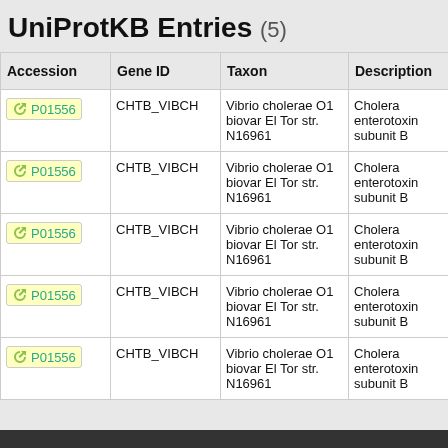UniProtKB Entries (5)
| Accession | Gene ID | Taxon | Description |
| --- | --- | --- | --- |
| P01556 | CHTB_VIBCH | Vibrio cholerae O1 biovar El Tor str. N16961 | Cholera enterotoxin subunit B |
| P01556 | CHTB_VIBCH | Vibrio cholerae O1 biovar El Tor str. N16961 | Cholera enterotoxin subunit B |
| P01556 | CHTB_VIBCH | Vibrio cholerae O1 biovar El Tor str. N16961 | Cholera enterotoxin subunit B |
| P01556 | CHTB_VIBCH | Vibrio cholerae O1 biovar El Tor str. N16961 | Cholera enterotoxin subunit B |
| P01556 | CHTB_VIBCH | Vibrio cholerae O1 biovar El Tor str. N16961 | Cholera enterotoxin subunit B |